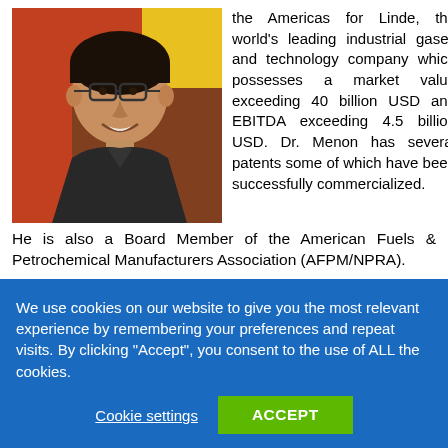[Figure (photo): Portrait photo of Dr. Menon, a man smiling, wearing glasses and a dark jacket, against a colorful background.]
the Americas for Linde, the world's leading industrial gases and technology company which possesses a market value exceeding 40 billion USD and EBITDA exceeding 4.5 billion USD. Dr. Menon has several patents some of which have been successfully commercialized.
He is also a Board Member of the American Fuels & Petrochemical Manufacturers Association (AFPM/NPRA).
Dr. Menon's education includes Doctorate and Masters of Chemical Engineering Practice degrees with
We use cookies on our website to give you the most relevant experience by remembering your preferences and repeat visits. By clicking "Accept", you consent to the use of ALL the cookies.